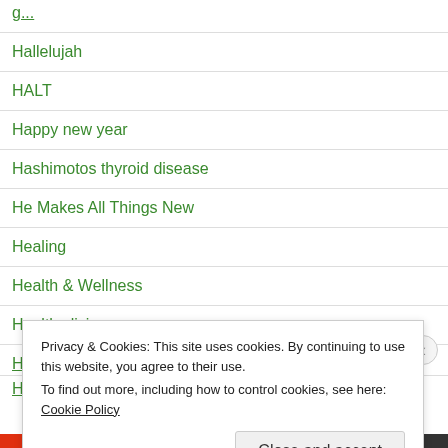Hallelujah
HALT
Happy new year
Hashimotos thyroid disease
He Makes All Things New
Healing
Health & Wellness
Healthy living
Privacy & Cookies: This site uses cookies. By continuing to use this website, you agree to their use. To find out more, including how to control cookies, see here: Cookie Policy
Close and accept